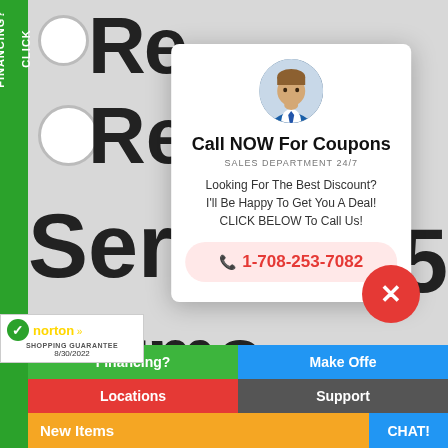[Figure (screenshot): Website screenshot with green sidebar labeled FINANCING? CLICK, background page with large text Re, Servi, Terms, circles and square checkboxes]
[Figure (infographic): Popup modal: Call NOW For Coupons, SALES DEPARTMENT 24/7, phone number 1-708-253-7082, with avatar photo of man in suit]
Call NOW For Coupons
SALES DEPARTMENT 24/7
Looking For The Best Discount? I'll Be Happy To Get You A Deal! CLICK BELOW To Call Us!
1-708-253-7082
FINANCING?
CLICK
Financing?
Make Offe
Locations
Support
New Items
CHAT!
[Figure (logo): Norton Shopping Guarantee badge with checkmark, dated 8/30/2022]